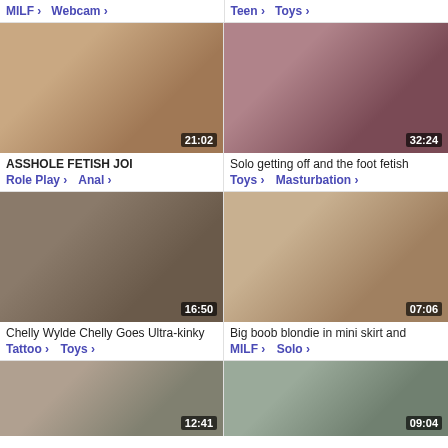MILF > Webcam > | Teen > Toys >
[Figure (photo): Close-up thumbnail, duration 21:02]
ASSHOLE FETISH JOI
Role Play > Anal >
[Figure (photo): Woman thumbnail, duration 32:24]
Solo getting off and the foot fetish
Toys > Masturbation >
[Figure (photo): Woman in bathroom thumbnail, duration 16:50]
Chelly Wylde Chelly Goes Ultra-kinky
Tattoo > Toys >
[Figure (photo): Blonde woman thumbnail, duration 07:06]
Big boob blondie in mini skirt and
MILF > Solo >
[Figure (photo): Partial thumbnail, duration 12:41]
[Figure (photo): Partial thumbnail, duration 09:04]